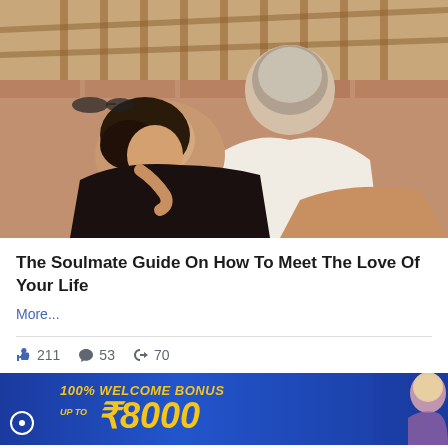[Figure (photo): A couple in an intimate pose outdoors — an older man with grey hair in a white shirt kissing/embracing a younger dark-haired woman in a black outfit, lying back against a brick wall background with bamboo fencing above]
The Soulmate Guide On How To Meet The Love Of Your Life
More...
211  53  70
[Figure (infographic): Blue advertisement banner reading '100% WELCOME BONUS UP TO ₹8000' in yellow bold italic text, with a woman figure on the right side]